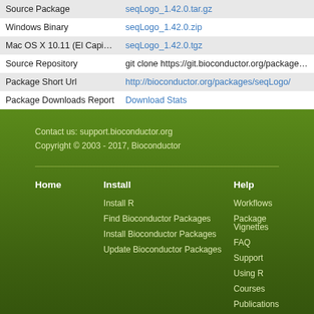|  |  |
| --- | --- |
| Source Package | seqLogo_1.42.0.tar.gz |
| Windows Binary | seqLogo_1.42.0.zip |
| Mac OS X 10.11 (El Capitan) | seqLogo_1.42.0.tgz |
| Source Repository | git clone https://git.bioconductor.org/packages/seqLogo |
| Package Short Url | http://bioconductor.org/packages/seqLogo/ |
| Package Downloads Report | Download Stats |
Contact us: support.bioconductor.org
Copyright © 2003 - 2017, Bioconductor
Home
Install
Help
Install R
Find Bioconductor Packages
Install Bioconductor Packages
Update Bioconductor Packages
Workflows
Package Vignettes
FAQ
Support
Using R
Courses
Publications
Cloud AMI
Community Resources